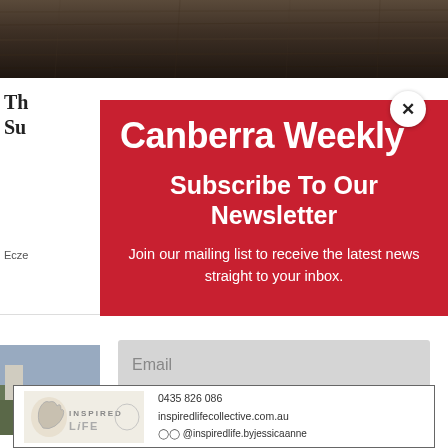[Figure (screenshot): Background website page partially visible behind modal overlay, showing wooden texture header, partial article title 'Th... Su...' and 'Ecze...' text, and partial outdoor photo of buildings/trees]
[Figure (screenshot): Modal popup overlay with red header containing Canberra Weekly logo and newsletter subscription prompt, white lower section with email input field and SUBSCRIBE! button]
Canberra Weekly
Subscribe To Our Newsletter
Join our mailing list to receive the latest news straight to your inbox.
Email
SUBSCRIBE!
[Figure (logo): Inspired Life logo with fist graphic and stylized text 'INSPIRED LiFE']
0435 826 086
inspireditecollective.com.au
@inspiredlife.byjessicaanne